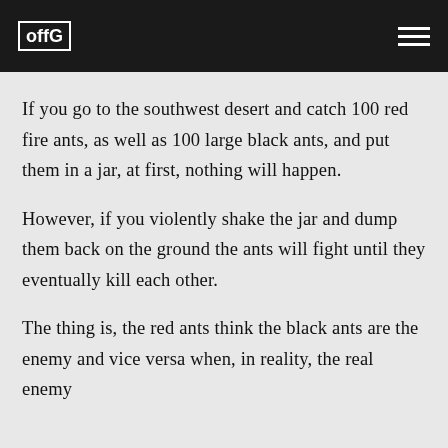offG [logo]
If you go to the southwest desert and catch 100 red fire ants, as well as 100 large black ants, and put them in a jar, at first, nothing will happen.
However, if you violently shake the jar and dump them back on the ground the ants will fight until they eventually kill each other.
The thing is, the red ants think the black ants are the enemy and vice versa when, in reality, the real enemy